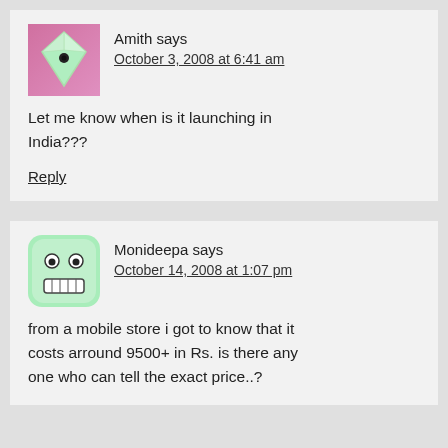Amith says
October 3, 2008 at 6:41 am
Let me know when is it launching in India???
Reply
Monideepa says
October 14, 2008 at 1:07 pm
from a mobile store i got to know that it costs arround 9500+ in Rs. is there any one who can tell the exact price..?